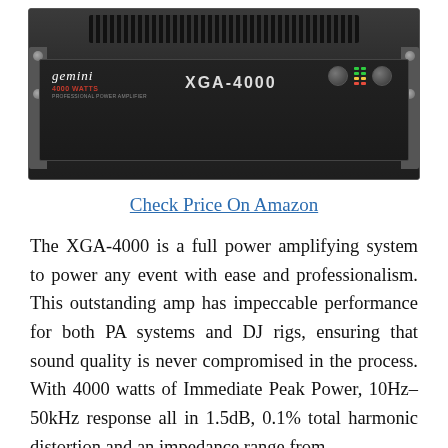[Figure (photo): Gemini XGA-4000 professional power amplifier, rack-mount unit, black, front panel showing Gemini logo, 4000 WATTS label, XGA-4000 model name, knobs and LED meters on the right side.]
Check Price On Amazon
The XGA-4000 is a full power amplifying system to power any event with ease and professionalism. This outstanding amp has impeccable performance for both PA systems and DJ rigs, ensuring that sound quality is never compromised in the process. With 4000 watts of Immediate Peak Power, 10Hz-50kHz response all in 1.5dB, 0.1% total harmonic distortion and an impedance range from